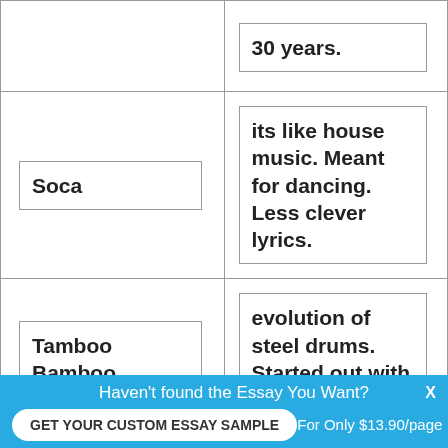| Term | Definition |
| --- | --- |
|  | 30 years. |
| Soca | its like house music. Meant for dancing. Less clever lyrics. |
| Tamboo Bamboo | evolution of steel drums. Started out with this. |
| Ellie Manette | important name in steel drums. |
Haven't found the Essay You Want?
GET YOUR CUSTOM ESSAY SAMPLE
For Only $13.90/page